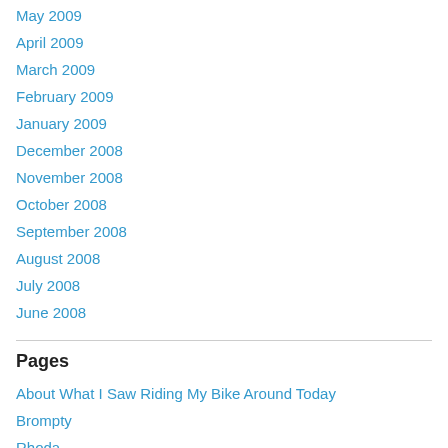May 2009
April 2009
March 2009
February 2009
January 2009
December 2008
November 2008
October 2008
September 2008
August 2008
July 2008
June 2008
Pages
About What I Saw Riding My Bike Around Today
Brompty
Rhoda
The Surly